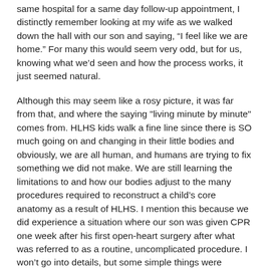same hospital for a same day follow-up appointment, I distinctly remember looking at my wife as we walked down the hall with our son and saying, “I feel like we are home.” For many this would seem very odd, but for us, knowing what we’d seen and how the process works, it just seemed natural.
Although this may seem like a rosy picture, it was far from that, and where the saying "living minute by minute" comes from. HLHS kids walk a fine line since there is SO much going on and changing in their little bodies and obviously, we are all human, and humans are trying to fix something we did not make. We are still learning the limitations to and how our bodies adjust to the many procedures required to reconstruct a child's core anatomy as a result of HLHS. I mention this because we did experience a situation where our son was given CPR one week after his first open-heart surgery after what was referred to as a routine, uncomplicated procedure. I won't go into details, but some simple things were overlooked and our son suddenly arrested, causing chest compressions to be required to safe his life. No one is real certain what caused our son to react the way he did, which